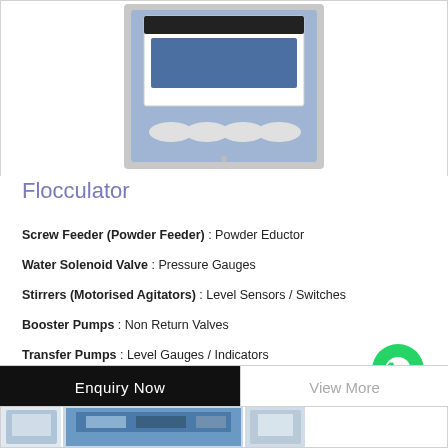[Figure (photo): Flocculator machine product image — blue industrial equipment with control panel, white display area, and multiple oval buttons at the bottom]
Flocculator
Screw Feeder (Powder Feeder) : Powder Eductor
Water Solenoid Valve : Pressure Gauges
Stirrers (Motorised Agitators) : Level Sensors / Switches
Booster Pumps : Non Return Valves
Transfer Pumps : Level Gauges / Indicators
Enquiry Now
View More
[Figure (photo): Partial image of next product strip at bottom of page]